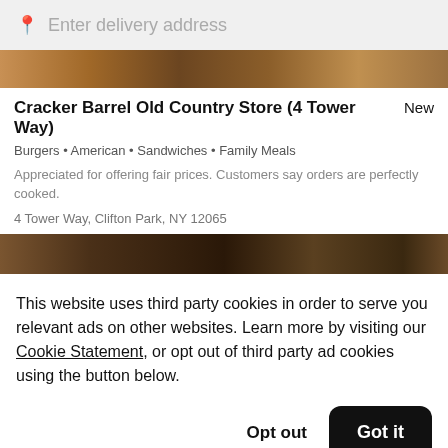Enter delivery address
[Figure (photo): Food image strip at top, brown/warm tones]
Cracker Barrel Old Country Store (4 Tower Way)
New
Burgers • American • Sandwiches • Family Meals
Appreciated for offering fair prices. Customers say orders are perfectly cooked.
4 Tower Way, Clifton Park, NY 12065
[Figure (photo): Food image strip at bottom, dark brown tones]
This website uses third party cookies in order to serve you relevant ads on other websites. Learn more by visiting our Cookie Statement, or opt out of third party ad cookies using the button below.
Opt out
Got it